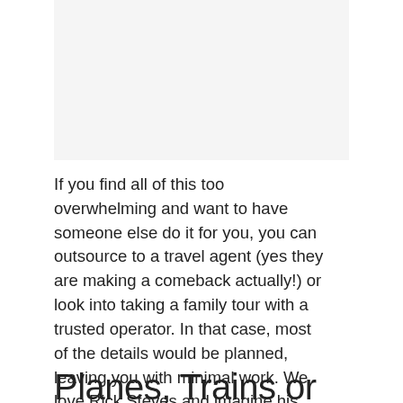[Figure (other): Gray advertisement placeholder box at top of page]
If you find all of this too overwhelming and want to have someone else do it for you, you can outsource to a travel agent (yes they are making a comeback actually!) or look into taking a family tour with a trusted operator. In that case, most of the details would be planned, leaving you with minimal work. We love Rick Steves and imagine his family tou would be quite fun. Adventures by Disney also conducts river cruises throughout Europe that would be amazing I'm
Planes, Trains or